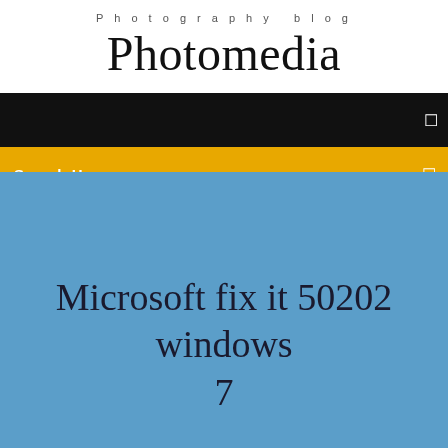Photography blog
Photomedia
[Figure (screenshot): Black navigation bar with a white menu icon on the right]
Search Here
Microsoft fix it 50202 windows 7